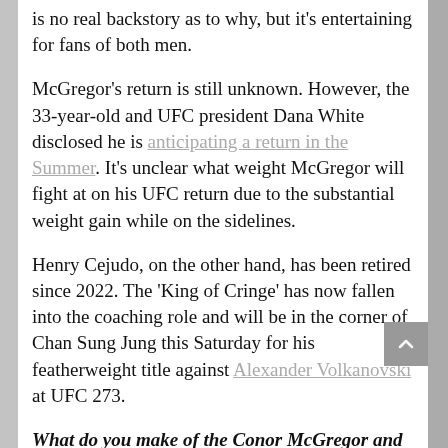is no real backstory as to why, but it's entertaining for fans of both men.
McGregor's return is still unknown. However, the 33-year-old and UFC president Dana White disclosed he is anticipating a return in the Summer. It's unclear what weight McGregor will fight at on his UFC return due to the substantial weight gain while on the sidelines.
Henry Cejudo, on the other hand, has been retired since 2022. The 'King of Cringe' has now fallen into the coaching role and will be in the corner of Chan Sung Jung this Saturday for his featherweight title against Alexander Volkanovski at UFC 273.
What do you make of the Conor McGregor and Henry Cejudo beef? Harmless fun, or a real heated hatred
About Post Author